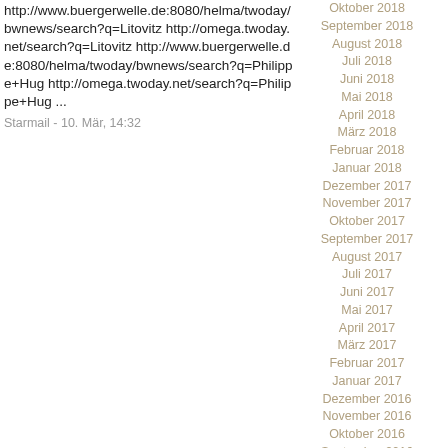http://www.buergerwelle.de:8080/helma/twoday/bwnews/search?q=Litovitz http://omega.twoday.net/search?q=Litovitz http://www.buergerwelle.de:8080/helma/twoday/bwnews/search?q=Philippe+Hug http://omega.twoday.net/search?q=Philippe+Hug ...
Starmail - 10. Mär, 14:32
Oktober 2018
September 2018
August 2018
Juli 2018
Juni 2018
Mai 2018
April 2018
März 2018
Februar 2018
Januar 2018
Dezember 2017
November 2017
Oktober 2017
September 2017
August 2017
Juli 2017
Juni 2017
Mai 2017
April 2017
März 2017
Februar 2017
Januar 2017
Dezember 2016
November 2016
Oktober 2016
September 2016
August 2016
Juli 2016
Juni 2016
Mai 2016
April 2016
März 2016
Februar 2016
Januar 2016
Dezember 2015
November 2015
Oktober 2015
September 2015